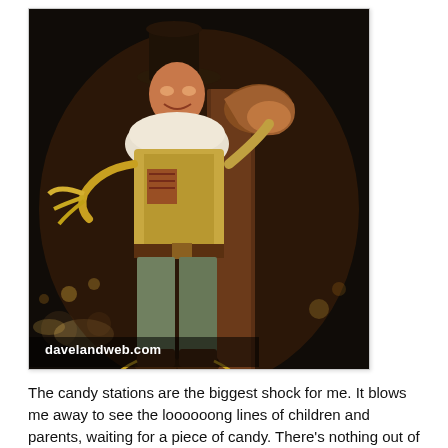[Figure (photo): A person dressed as the Scarecrow from Wizard of Oz in costume, posing on a decorative post at night at what appears to be a theme park. The photo has a watermark reading 'davelandweb.com' in the lower left corner.]
The candy stations are the biggest shock for me. It blows me away to see the loooooong lines of children and parents, waiting for a piece of candy. There's nothing out of the